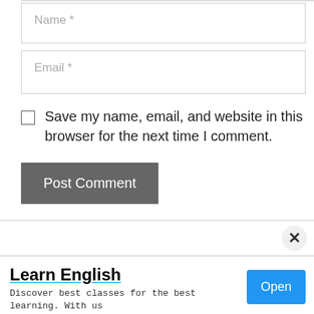[Figure (screenshot): Web form with Name and Email input fields, a checkbox for saving browser info, a Post Comment button, and an advertisement banner at the bottom for 'Learn English' from Zoni Live Institute with an Open button.]
Name *
Email *
Save my name, email, and website in this browser for the next time I comment.
Post Comment
X
Learn English
Discover best classes for the best learning. With us you'll be in safe and capable hands. Zoni Live Institute
Open